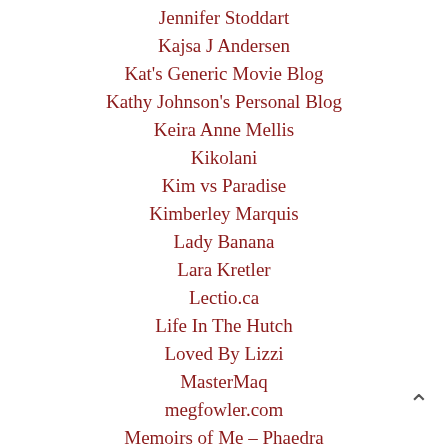Jennifer Stoddart
Kajsa J Andersen
Kat's Generic Movie Blog
Kathy Johnson's Personal Blog
Keira Anne Mellis
Kikolani
Kim vs Paradise
Kimberley Marquis
Lady Banana
Lara Kretler
Lectio.ca
Life In The Hutch
Loved By Lizzi
MasterMaq
megfowler.com
Memoirs of Me – Phaedra